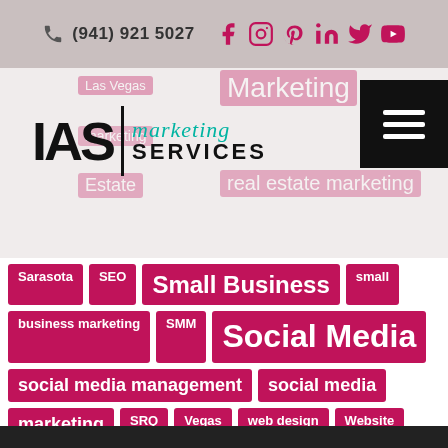(941) 921 5027
[Figure (logo): IAS Marketing Services logo with teal script 'marketing' and bold 'SERVICES' text]
Sarasota
SEO
Small Business
small business marketing
SMM
Social Media
social media management
social media marketing
SRQ
Vegas
web design
Website